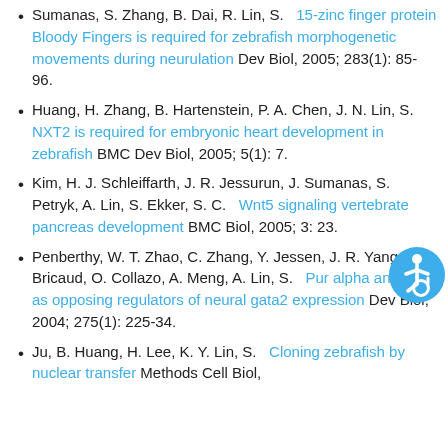Sumanas, S. Zhang, B. Dai, R. Lin, S.   15-zinc finger protein Bloody Fingers is required for zebrafish morphogenetic movements during neurulation Dev Biol, 2005; 283(1): 85-96.
Huang, H. Zhang, B. Hartenstein, P. A. Chen, J. N. Lin, S.   NXT2 is required for embryonic heart development in zebrafish BMC Dev Biol, 2005; 5(1): 7.
Kim, H. J. Schleiffarth, J. R. Jessurun, J. Sumanas, S. Petryk, A. Lin, S. Ekker, S. C.   Wnt5 signaling vertebrate pancreas development BMC Biol, 2005; 3: 23.
Penberthy, W. T. Zhao, C. Zhang, Y. Jessen, J. R. Yang, Z. Bricaud, O. Collazo, A. Meng, A. Lin, S.   Pur alpha and Sp8 as opposing regulators of neural gata2 expression Dev Biol, 2004; 275(1): 225-34.
Ju, B. Huang, H. Lee, K. Y. Lin, S.   Cloning zebrafish by nuclear transfer Methods Cell Biol,